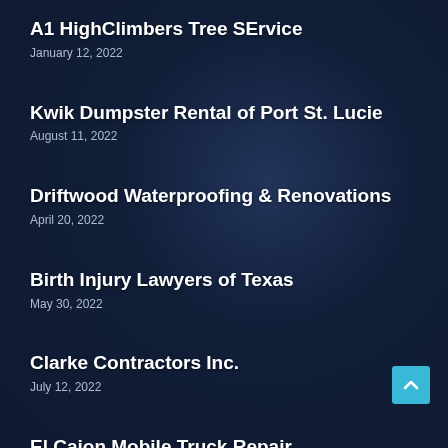A1 HighClimbers Tree SErvice
January 12, 2022
Kwik Dumpster Rental of Port St. Lucie
August 11, 2022
Driftwood Waterproofing & Renovations
April 20, 2022
Birth Injury Lawyers of Texas
May 30, 2022
Clarke Contractors Inc.
July 12, 2022
El Cajon Mobile Truck Repair